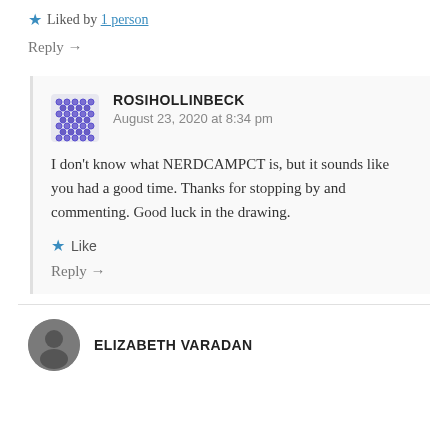★ Liked by 1 person
Reply →
ROSIHOLLINBECK
August 23, 2020 at 8:34 pm
I don't know what NERDCAMPCT is, but it sounds like you had a good time. Thanks for stopping by and commenting. Good luck in the drawing.
★ Like
Reply →
ELIZABETH VARADAN